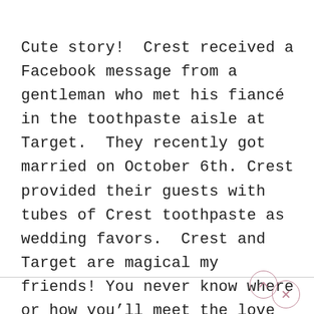Cute story!  Crest received a Facebook message from a gentleman who met his fiancé in the toothpaste aisle at Target.  They recently got married on October 6th. Crest provided their guests with tubes of Crest toothpaste as wedding favors.  Crest and Target are magical my friends! You never know where or how you'll meet the love of your life!